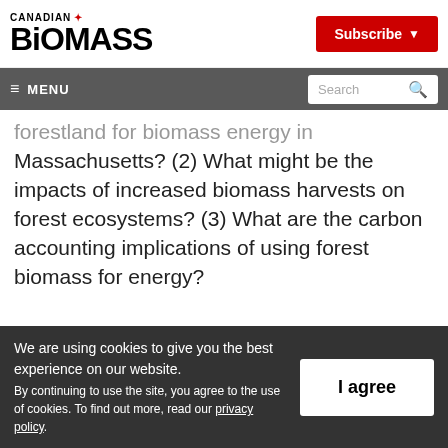CANADIAN BIOMASS
Subscribe
≡ MENU | Search
forestland for biomass energy in Massachusetts? (2) What might be the impacts of increased biomass harvests on forest ecosystems? (3) What are the carbon accounting implications of using forest biomass for energy?
We are using cookies to give you the best experience on our website. By continuing to use the site, you agree to the use of cookies. To find out more, read our privacy policy.
I agree